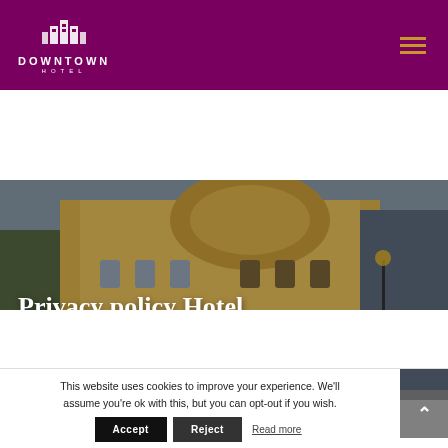[Figure (logo): Downtown Hotel logo — white building icon above the text DOWNTOWN HOTEL on a dark magenta/purple background]
[Figure (photo): Hero banner photo of a historic Bulgarian building (Sofia city center) with ornate yellow facade and arched windows, overlaid with the page title text]
Privacy policy Hotel Downtown Sofia
Web site privacy policy
This website uses cookies to improve your experience. We'll assume you're ok with this, but you can opt-out if you wish.